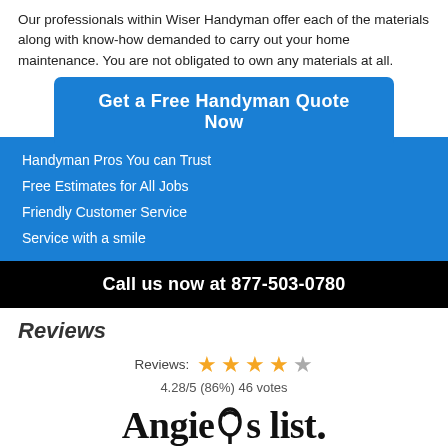Our professionals within Wiser Handyman offer each of the materials along with know-how demanded to carry out your home maintenance. You are not obligated to own any materials at all.
[Figure (infographic): Blue button: Get a Free Handyman Quote Now]
Handyman Pros You can Trust
Free Estimates for All Jobs
Friendly Customer Service
Service with a smile
Call us now at 877-503-0780
Reviews
[Figure (infographic): Star rating: 4.28/5 (86%) 46 votes with 4 filled stars and 1 empty star]
[Figure (logo): Angie's List logo]
[Figure (logo): Google, Yelp and other review site logos partially visible at bottom]